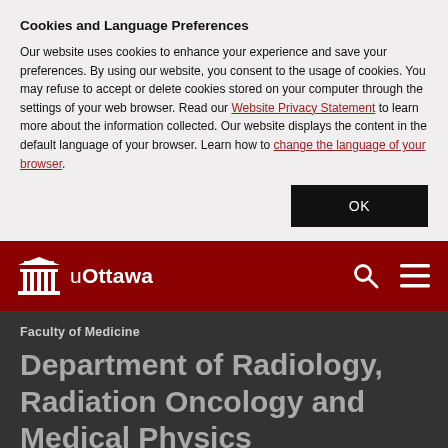Cookies and Language Preferences
Our website uses cookies to enhance your experience and save your preferences. By using our website, you consent to the usage of cookies. You may refuse to accept or delete cookies stored on your computer through the settings of your web browser. Read our Website Privacy Statement to learn more about the information collected. Our website displays the content in the default language of your browser. Learn how to change the language of your browser.
[Figure (screenshot): OK button - black rectangle with white OK text]
[Figure (logo): University of Ottawa logo - white building icon with u Ottawa text on dark red navigation bar with search and menu icons]
Faculty of Medicine
Department of Radiology, Radiation Oncology and Medical Physics